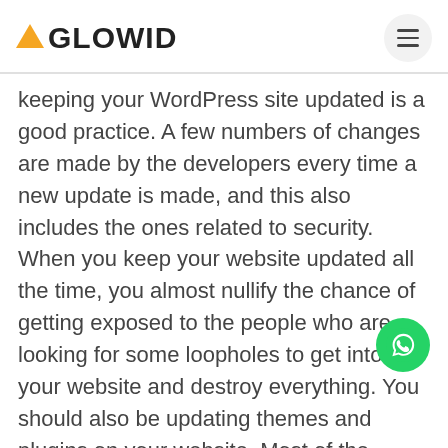AGLOWID
keeping your WordPress site updated is a good practice. A few numbers of changes are made by the developers every time a new update is made, and this also includes the ones related to security. When you keep your website updated all the time, you almost nullify the chance of getting exposed to the people who are looking for some loopholes to get into your website and destroy everything. You should also be updating themes and plugins on your website. Most of the plugins and themes the WordPress site come from third-party developers and so such plugins and themes are regularly updated with regular releases.